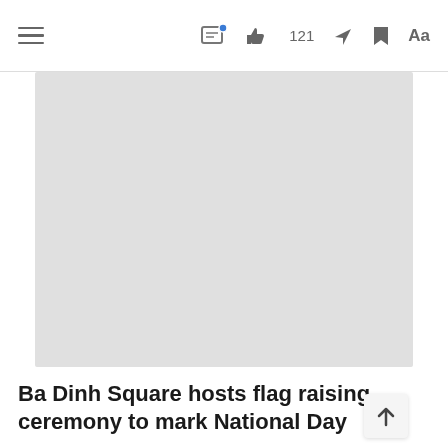Navigation bar with hamburger menu, comment icon, like (121), share, bookmark, and Aa font controls
[Figure (photo): A large image placeholder (light gray rectangle) at the top of the article]
Ba Dinh Square hosts flag raising ceremony to mark National Day
NEWS
[Figure (photo): A second image placeholder (light gray rectangle) partially visible at the bottom of the screen]